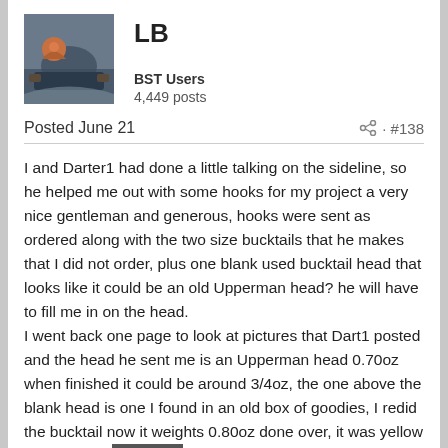LB
BST Users
4,449 posts
Posted June 21 · #138
I and Darter1 had done a little talking on the sideline, so he helped me out with some hooks for my project a very nice gentleman and generous, hooks were sent as ordered along with the two size bucktails that he makes that I did not order, plus one blank used bucktail head that looks like it could be an old Upperman head? he will have to fill me in on the head.
I went back one page to look at pictures that Dart1 posted and the head he sent me is an Upperman head 0.70oz when finished it could be around 3/4oz, the one above the blank head is one I found in an old box of goodies, I redid the bucktail now it weights 0.80oz done over, it was yellow when found.
My wife side tracked me with this to do so my making my bucktail is on hold for a few days, I would also like to make a